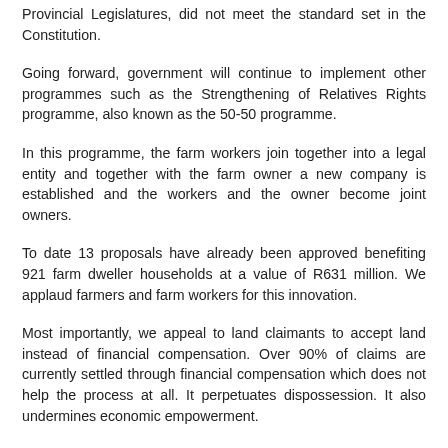Provincial Legislatures, did not meet the standard set in the Constitution.
Going forward, government will continue to implement other programmes such as the Strengthening of Relatives Rights programme, also known as the 50-50 programme.
In this programme, the farm workers join together into a legal entity and together with the farm owner a new company is established and the workers and the owner become joint owners.
To date 13 proposals have already been approved benefiting 921 farm dweller households at a value of R631 million. We applaud farmers and farm workers for this innovation.
Most importantly, we appeal to land claimants to accept land instead of financial compensation. Over 90% of claims are currently settled through financial compensation which does not help the process at all. It perpetuates dispossession. It also undermines economic empowerment.
Government has committed itself to support black smallholder farmers. I received a memorandum from the African Farmers